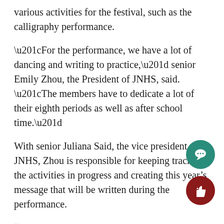various activities for the festival, such as the calligraphy performance.
“For the performance, we have a lot of dancing and writing to practice,” senior Emily Zhou, the President of JNHS, said. “The members have to dedicate a lot of their eighth periods as well as after school time.”
With senior Juliana Said, the vice president of JNHS, Zhou is responsible for keeping track of the activities in progress and creating this year’s message that will be written during the performance.
“I have been the main person contacting the choreographers of this year’s dance,” Said said. “I tr and help them create the dance to our expectatio and keep them on schedule.”
During the festival, JNHS will be presenting traditi